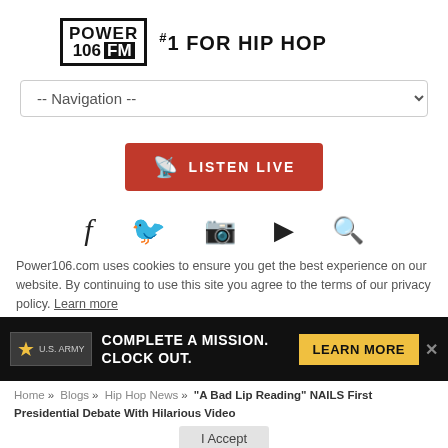[Figure (logo): Power 106 FM logo with tagline '#1 FOR HIP HOP']
[Figure (other): Navigation dropdown menu with '-- Navigation --' placeholder]
[Figure (other): Red 'LISTEN LIVE' button with antenna icon]
[Figure (other): Social media icons row: Facebook, Twitter, Instagram, YouTube, Search]
Power106.com uses cookies to ensure you get the best experience on our website. By continuing to use this site you agree to the terms of our privacy policy. Learn more
[Figure (other): Army advertisement banner: 'COMPLETE A MISSION. CLOCK OUT.' with LEARN MORE button]
Home » Blogs » Hip Hop News » "A Bad Lip Reading" NAILS First Presidential Debate With Hilarious Video
“A Bad Lip Reading” NAILS First